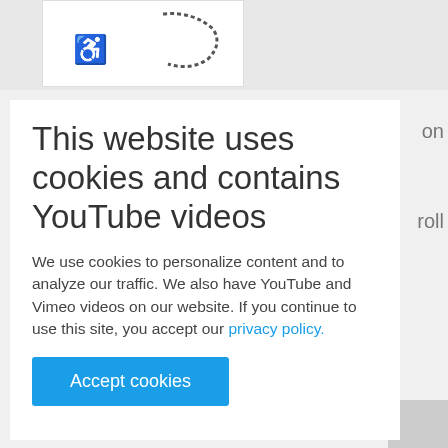[Figure (screenshot): Partial website screenshot showing top area with a white box containing accessibility icon and decorative image element on gray background]
This website uses cookies and contains YouTube videos
We use cookies to personalize content and to analyze our traffic. We also have YouTube and Vimeo videos on our website. If you continue to use this site, you accept our privacy policy.
Accept cookies